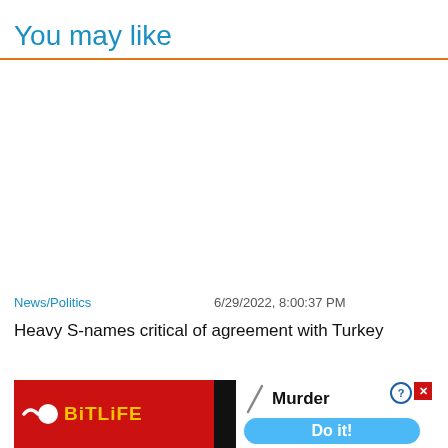You may like
News/Politics   6/29/2022, 8:00:37 PM
Heavy S-names critical of agreement with Turkey
[Figure (screenshot): Close X button overlay and BitLife advertisement banner with Murder / Do it! text]